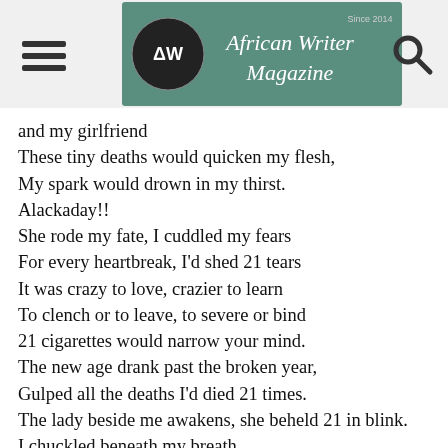African Writer Magazine — Since 2014
and my girlfriend
These tiny deaths would quicken my flesh,
My spark would drown in my thirst.
Alackaday!!
She rode my fate, I cuddled my fears
For every heartbreak, I'd shed 21 tears
It was crazy to love, crazier to learn
To clench or to leave, to severe or bind
21 cigarettes would narrow your mind.
The new age drank past the broken year,
Gulped all the deaths I'd died 21 times.
The lady beside me awakens, she beheld 21 in blink.
I chuckled beneath my breath,
'21 was a funny sign'.
————————-